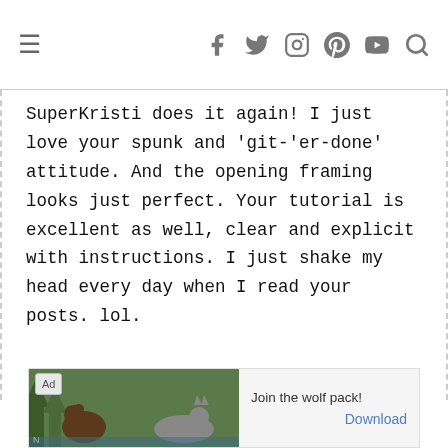≡  [social icons: facebook, twitter, instagram, pinterest, youtube, search]
SuperKristi does it again! I just love your spunk and 'git-'er-done' attitude. And the opening framing looks just perfect. Your tutorial is excellent as well, clear and explicit with instructions. I just shake my head every day when I read your posts. lol.
[Figure (screenshot): Advertisement banner showing wolves and bears with text 'Join the wolf pack!' and a Download button.]